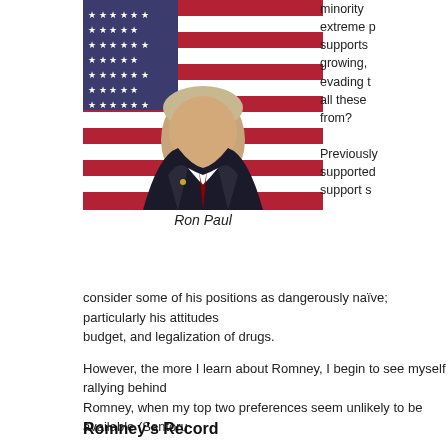[Figure (photo): Portrait photo of Ron Paul in dark suit with red tie, standing in front of an American flag]
Ron Paul
minority extreme p supports growing, evading t all these from?
Previously supported support s consider some of his positions as dangerously naïve; particularly his attitudes budget, and legalization of drugs.
However, the more I learn about Romney, I begin to see myself rallying behind Romney, when my top two preferences seem unlikely to be available (Santoru
I believe that the Republican National Committee (RNC) would have more suc controversial policies (foreign policy/defense budget/drug positions) than they Romney's controversial policies (recent endorsements of embryo destruction, fundraising associations with pharmaceutical companies which manufacture a
Romney's Record